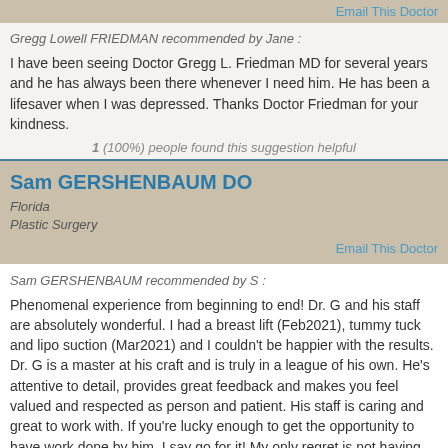Email This Doctor
Gregg Lowell FRIEDMAN recommended by Jane :
I have been seeing Doctor Gregg L. Friedman MD for several years and he has always been there whenever I need him. He has been a lifesaver when I was depressed. Thanks Doctor Friedman for your kindness.
1 (100%) people found this suggestion helpful
Sam GERSHENBAUM DO
Florida
Plastic Surgery
Email This Doctor
Sam GERSHENBAUM recommended by S :
Phenomenal experience from beginning to end! Dr. G and his staff are absolutely wonderful. I had a breast lift (Feb2021), tummy tuck and lipo suction (Mar2021) and I couldn't be happier with the results. Dr. G is a master at his craft and is truly in a league of his own. He's attentive to detail, provides great feedback and makes you feel valued and respected as person and patient. His staff is caring and great to work with. If you're lucky enough to get the opportunity to have work done by him, I say go for it! My only regret is not having more done. Thanks Dr. G for everything!